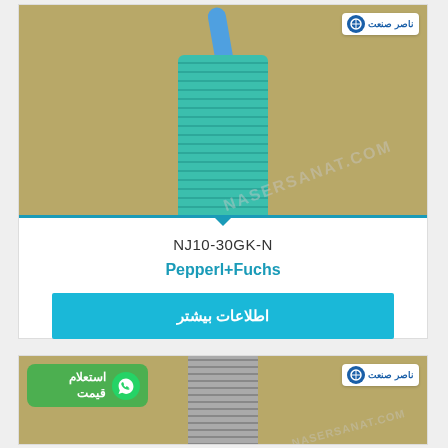[Figure (photo): Close-up photo of a teal/green cylindrical inductive proximity sensor with threaded body and blue cable, placed on a beige/tan background. Logo badge in top-right corner.]
NJ10-30GK-N
Pepperl+Fuchs
اطلاعات بیشتر
[Figure (photo): Close-up photo of a metallic/silver cylindrical inductive proximity sensor with threaded body on a beige background. Logo badge in top-right. WhatsApp inquiry badge on left side with Arabic/Persian text 'استعلام قیمت'.]